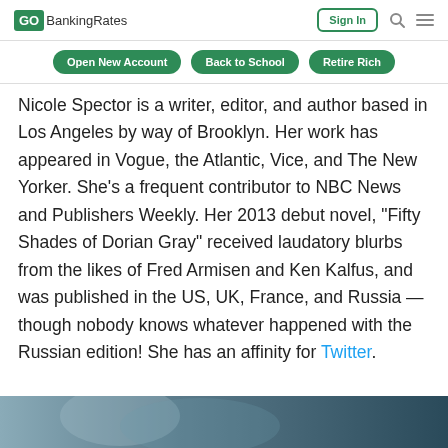GOBankingRates | Sign In
Open New Account | Back to School | Retire Rich
Nicole Spector is a writer, editor, and author based in Los Angeles by way of Brooklyn. Her work has appeared in Vogue, the Atlantic, Vice, and The New Yorker. She's a frequent contributor to NBC News and Publishers Weekly. Her 2013 debut novel, "Fifty Shades of Dorian Gray" received laudatory blurbs from the likes of Fred Armisen and Ken Kalfus, and was published in the US, UK, France, and Russia — though nobody knows whatever happened with the Russian edition! She has an affinity for Twitter.
[Figure (photo): Partial photo visible at the bottom of the page, dark tones with bluish hue]